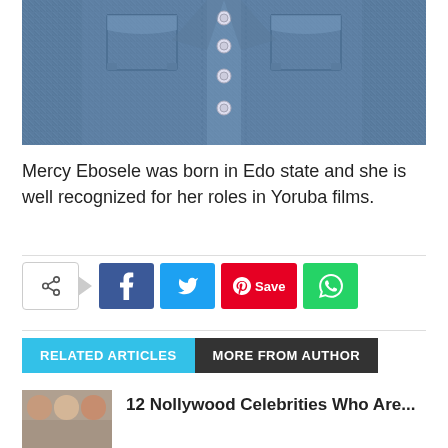[Figure (photo): Close-up photograph of a blue denim jacket showing buttons, pockets, and fabric texture]
Mercy Ebosele was born in Edo state and she is well recognized for her roles in Yoruba films.
[Figure (infographic): Social media share bar with share button, Facebook, Twitter, Pinterest Save, and WhatsApp buttons]
RELATED ARTICLES  MORE FROM AUTHOR
12 Nollywood Celebrities Who Are...